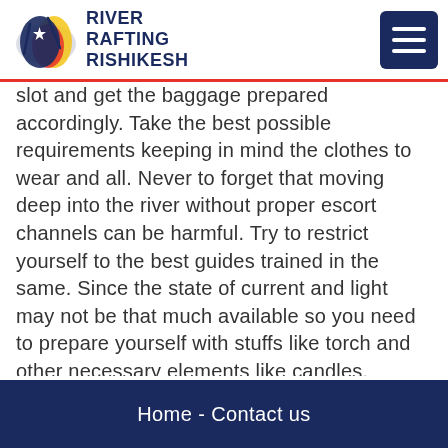RIVER RAFTING RISHIKESH
slot and get the baggage prepared accordingly. Take the best possible requirements keeping in mind the clothes to wear and all. Never to forget that moving deep into the river without proper escort channels can be harmful. Try to restrict yourself to the best guides trained in the same. Since the state of current and light may not be that much available so you need to prepare yourself with stuffs like torch and other necessary elements like candles, matchboxes.
Home - Contact us